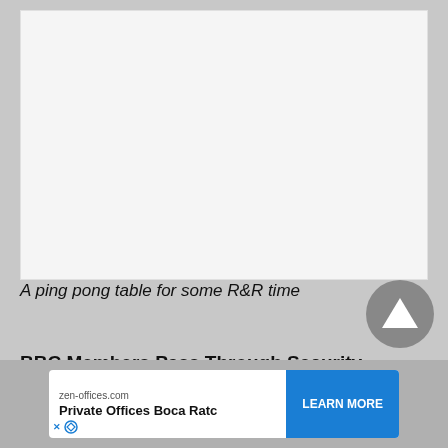[Figure (photo): A large light gray/white image placeholder area representing a photo of a ping pong table]
A ping pong table for some R&R time
BBC Members Pass Through Security
[Figure (other): Advertisement bar: zen-offices.com — Private Offices Boca Rato — LEARN MORE button]